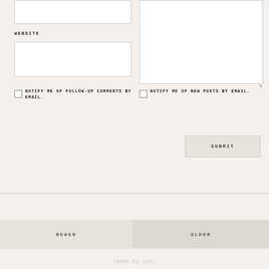WEBSITE
NOTIFY ME OF FOLLOW-UP COMMENTS BY EMAIL.
NOTIFY ME OF NEW POSTS BY EMAIL.
SUBMIT
NEWER
OLDER
THEME BY (em)